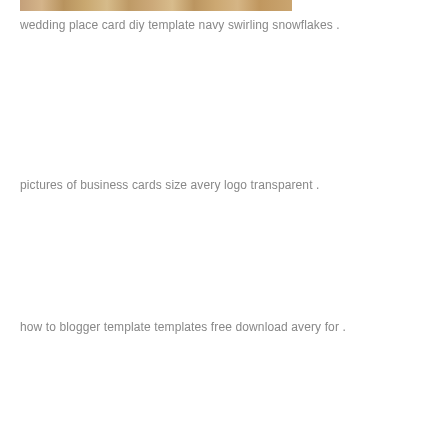[Figure (photo): A thin horizontal strip showing a wood texture/grain surface in warm brown tones.]
wedding place card diy template navy swirling snowflakes .
pictures of business cards size avery logo transparent .
how to blogger template templates free download avery for .